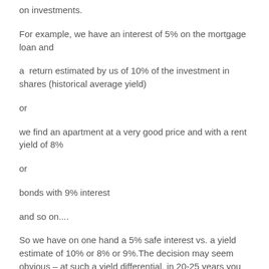on investments.
For example, we have an interest of 5% on the mortgage loan and
a  return estimated by us of 10% of the investment in shares (historical average yield)
or
we find an apartment at a very good price and with a rent yield of 8%
or
bonds with 9% interest
and so on....
So we have on one hand a 5% safe interest vs. a yield estimate of 10% or 8% or 9%.The decision may seem obvious – at such a yield differential, in 20-25 years you pay the property 2 times,